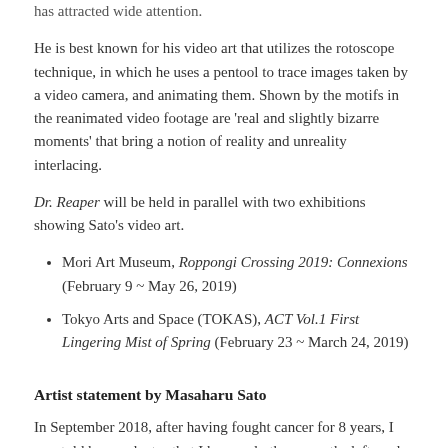has attracted wide attention.
He is best known for his video art that utilizes the rotoscope technique, in which he uses a pentool to trace images taken by a video camera, and animating them. Shown by the motifs in the reanimated video footage are 'real and slightly bizarre moments' that bring a notion of reality and unreality interlacing.
Dr. Reaper will be held in parallel with two exhibitions showing Sato's video art.
Mori Art Museum, Roppongi Crossing 2019: Connexions (February 9 ~ May 26, 2019)
Tokyo Arts and Space (TOKAS), ACT Vol.1 First Lingering Mist of Spring (February 23 ~ March 24, 2019)
Artist statement by Masaharu Sato
In September 2018, after having fought cancer for 8 years, I was told by my doctor that I have only three months left, and my real estate agent requested us to leave the house where I live by March 2019 due to its deterioration.
The method for the nine new paintings do not differ so much with my video